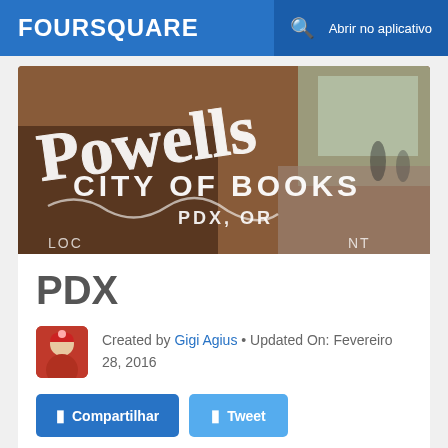FOURSQUARE  🔍  Abrir no aplicativo
[Figure (photo): Powell's City of Books store window sign with cursive lettering reading 'Powells City of Books PDX, OR' with street scene visible through glass]
PDX
Created by Gigi Agius • Updated On: Fevereiro 28, 2016
Compartilhar  Tweet
[Figure (photo): Partial view of Powell's City of Books store window sign (bottom of page, cropped)]